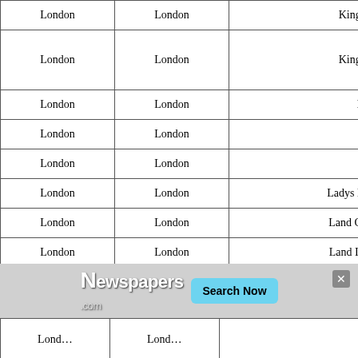| City | County | Publication |
| --- | --- | --- |
| London | London | Kingdomes Weekly Post (1645) |
| London | London | Kingdomes Weekly Post (1645) |
| London | London | Kingdoms Intelligencer |
| London | London | Ladies |
| London | London | Ladys Newspaper |
| London | London | Ladys Newspaper And Pictorial Times |
| London | London | Land Country Gentlemans Journal |
| London | London | Land Its Sports Domains And Farm |
| London | London | Late Proceedings of the Scotish Army |
| London | London | Law Chronicle |
| London | London | Law Chronicle And Estate Advertiser |
| London | London | Law Chronicle And Estate Advertiser |
| London | London | Law Gazette |
| London | London | ... Wealth |